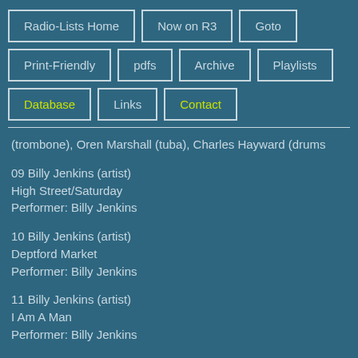Radio-Lists Home
Now on R3
Goto
Print-Friendly
pdfs
Archive
Playlists
Database
Links
Contact
(trombone), Oren Marshall (tuba), Charles Hayward (drums
09 Billy Jenkins (artist)
High Street/Saturday
Performer: Billy Jenkins
10 Billy Jenkins (artist)
Deptford Market
Performer: Billy Jenkins
11 Billy Jenkins (artist)
I Am A Man
Performer: Billy Jenkins
12 Billy Jenkins (artist)
Francis Drake Bowls Club